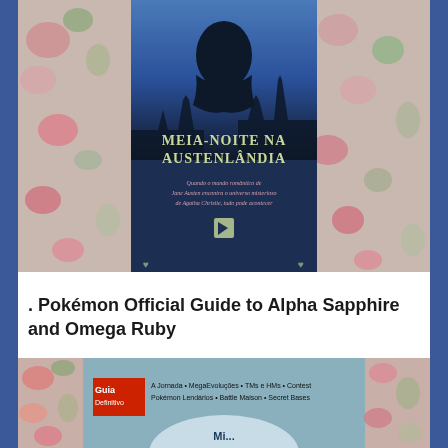[Figure (photo): Photo of a book titled 'Meia-Noite na Austenlândia' placed on a floral/cross-stitch fabric background. The book cover shows a dark silhouette of a person against a blue background with gothic architecture. Subtitle reads 'Quando o mundo romântico de Jane Austen encontra o universo misterioso de Agatha Christie, tudo pode acontecer'.]
. Pokémon Official Guide to Alpha Sapphire and Omega Ruby
[Figure (photo): Photo of a book guide for Pokémon Alpha Sapphire and Omega Ruby. The cover shows 'Guia Definitivo' badge in red, with text listing features: 'A Jornada • MegaEvoluções • TMs e HMs • Contest • Pokémon Lendários • Battle Maison • Secret Bases'. Book placed on floral fabric background.]